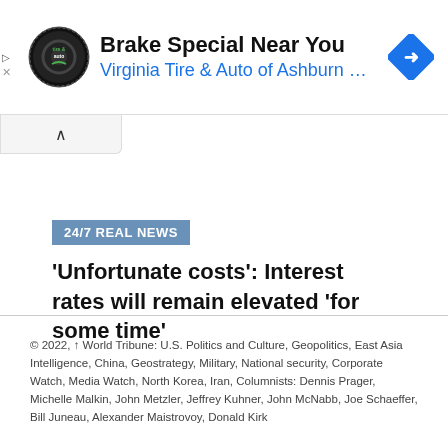[Figure (other): Advertisement banner for Virginia Tire & Auto of Ashburn with logo and arrow direction icon]
24/7 REAL NEWS
'Unfortunate costs': Interest rates will remain elevated 'for some time'
© 2022, ↑ World Tribune: U.S. Politics and Culture, Geopolitics, East Asia Intelligence, China, Geostrategy, Military, National security, Corporate Watch, Media Watch, North Korea, Iran, Columnists: Dennis Prager, Michelle Malkin, John Metzler, Jeffrey Kuhner, John McNabb, Joe Schaeffer, Bill Juneau, Alexander Maistrovoy, Donald Kirk